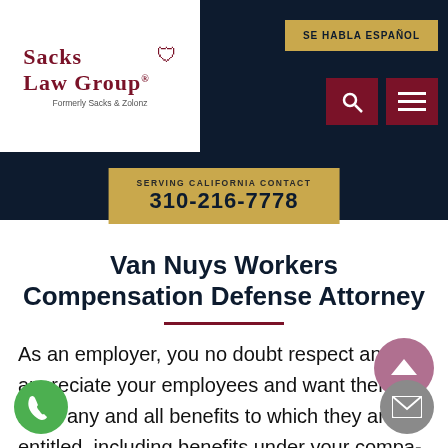[Figure (logo): Sacks Law Group logo with shield emblem, text 'Sacks Law Group' and 'Formerly Sacks & Zolonz']
SE HABLA ESPAÑOL
SERVING CALIFORNIA CONTACT
310-216-7778
Van Nuys Workers Compensation Defense Attorney
As an employer, you no doubt respect and appreciate your employees and want them to have any and all benefits to which they are entitled, including benefits under your company workers compensation insurance coverage.